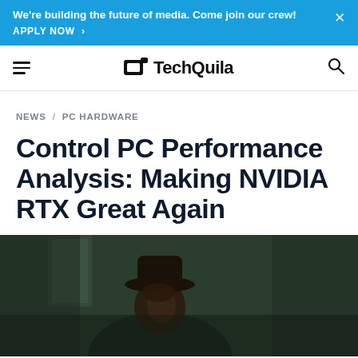We're building the future of media. Come join our crew! APPLY NOW >
TechQuila
NEWS / PC HARDWARE
Control PC Performance Analysis: Making NVIDIA RTX Great Again
[Figure (photo): Dark-toned photograph of a person wearing a hat, partially visible, set against a dark green/teal background]